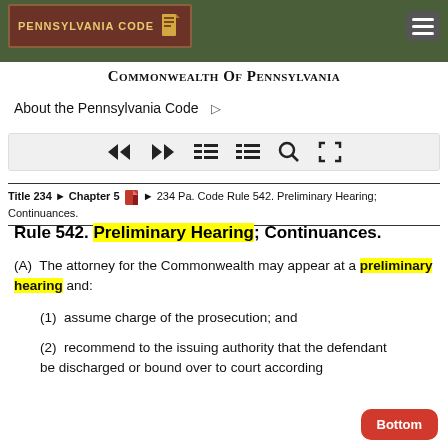PENNSYLVANIA CODE
Commonwealth Of Pennsylvania
About the Pennsylvania Code ›
[Figure (other): Navigation toolbar with back, forward, list view, compact list, search, and fullscreen icons]
Title 234 ► Chapter 5 ► 234 Pa. Code Rule 542. Preliminary Hearing; Continuances.
Rule 542. Preliminary Hearing; Continuances.
(A)  The attorney for the Commonwealth may appear at a preliminary hearing and:
(1)  assume charge of the prosecution; and
(2)  recommend to the issuing authority that the defendant be discharged or bound over to court according